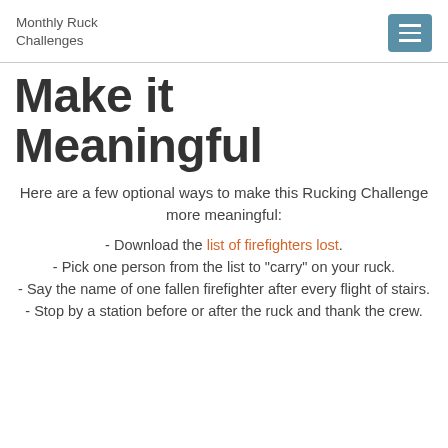Monthly Ruck Challenges
Make it Meaningful
Here are a few optional ways to make this Rucking Challenge more meaningful:
- Download the list of firefighters lost.
- Pick one person from the list to "carry" on your ruck.
- Say the name of one fallen firefighter after every flight of stairs.
- Stop by a station before or after the ruck and thank the crew.